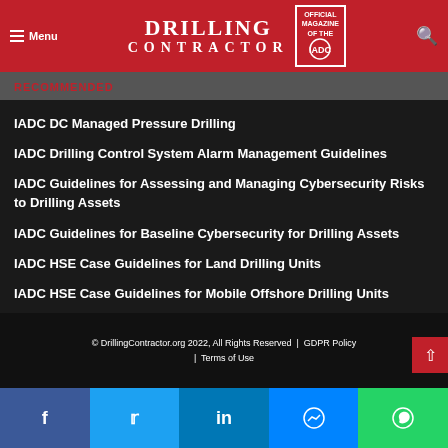Drilling Contractor — Official Magazine of the IADC
RECOMMENDED
IADC DC Managed Pressure Drilling
IADC Drilling Control System Alarm Management Guidelines
IADC Guidelines for Assessing and Managing Cybersecurity Risks to Drilling Assets
IADC Guidelines for Baseline Cybersecurity for Drilling Assets
IADC HSE Case Guidelines for Land Drilling Units
IADC HSE Case Guidelines for Mobile Offshore Drilling Units
© DrillingContractor.org 2022, All Rights Reserved | GDPR Policy | Terms of Use